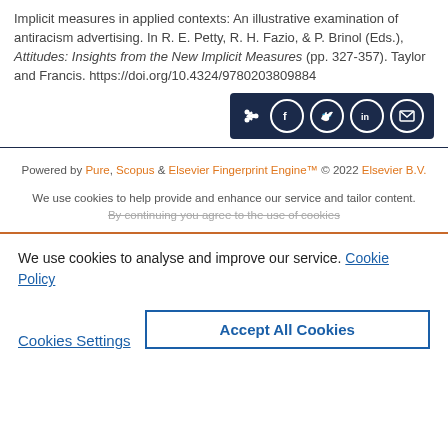Implicit measures in applied contexts: An illustrative examination of antiracism advertising. In R. E. Petty, R. H. Fazio, & P. Brinol (Eds.), Attitudes: Insights from the New Implicit Measures (pp. 327-357). Taylor and Francis. https://doi.org/10.4324/9780203809884
[Figure (other): Social share buttons bar with icons for share, Facebook, Twitter, LinkedIn, and email on a dark navy background]
Powered by Pure, Scopus & Elsevier Fingerprint Engine™ © 2022 Elsevier B.V.
We use cookies to help provide and enhance our service and tailor content. By continuing you agree to the use of cookies
We use cookies to analyse and improve our service. Cookie Policy
Cookies Settings
Accept All Cookies